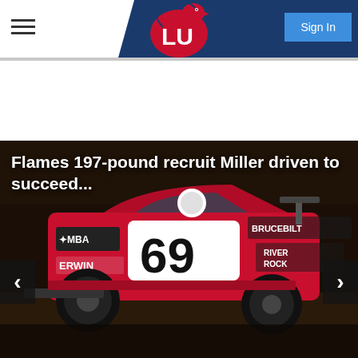Liberty University Athletics – Sign In
[Figure (screenshot): Liberty University (LU) athletic logo – red hawk mascot with LU letters on navy blue diagonal banner header]
[Figure (photo): Race car number 69 with red body, sponsor logos including MBA, ERWIN, BRUCEBILT, RIVER ROCK; driver in white helmet visible; dark background setting at a dirt track]
Flames 197-pound recruit Miller driven to succeed...